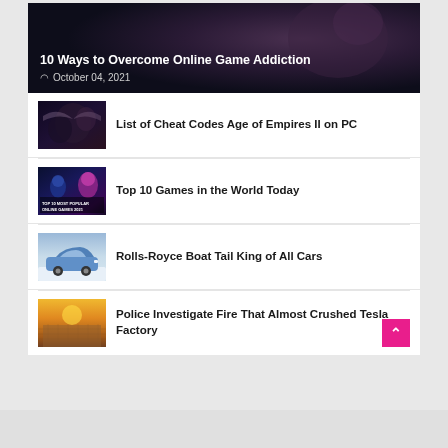[Figure (photo): Hero image with dark gaming background showing a person, overlaid with article title and date]
10 Ways to Overcome Online Game Addiction
October 04, 2021
[Figure (photo): Thumbnail for Age of Empires II article showing fantasy/medieval characters]
List of Cheat Codes Age of Empires II on PC
[Figure (photo): Thumbnail for Top 10 Games article with colorful gaming characters and text 'TOP 10 MOST POPULAR ONLINE GAMES 2021']
Top 10 Games in the World Today
[Figure (photo): Thumbnail showing blue Rolls-Royce Boat Tail car in snowy setting]
Rolls-Royce Boat Tail King of All Cars
[Figure (photo): Thumbnail showing Tesla factory aerial view with warm sunset lighting]
Police Investigate Fire That Almost Crushed Tesla Factory